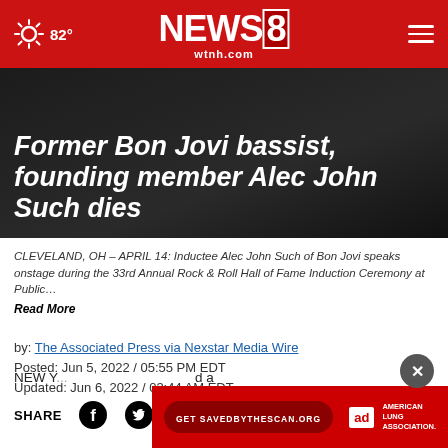82° NEWS8 wtnh.com
Former Bon Jovi bassist, founding member Alec John Such dies
CLEVELAND, OH – APRIL 14: Inductee Alec John Such of Bon Jovi speaks onstage during the 33rd Annual Rock & Roll Hall of Fame Induction Ceremony at Public… Read More
by: The Associated Press via Nexstar Media Wire
Posted: Jun 5, 2022 / 05:55 PM EDT
Updated: Jun 6, 2022 / 03:44 AM EDT
SHARE
[Figure (screenshot): Ad banner: Get SAVEDBYTHESCAN.ORG, Ad Council, American Lung Association]
NEW Y... d a